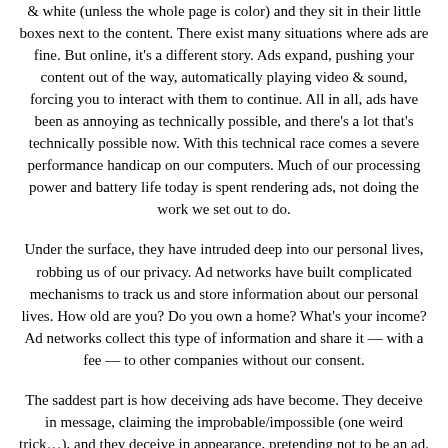& white (unless the whole page is color) and they sit in their little boxes next to the content. There exist many situations where ads are fine. But online, it's a different story. Ads expand, pushing your content out of the way, automatically playing video & sound, forcing you to interact with them to continue. All in all, ads have been as annoying as technically possible, and there's a lot that's technically possible now. With this technical race comes a severe performance handicap on our computers. Much of our processing power and battery life today is spent rendering ads, not doing the work we set out to do.
Under the surface, they have intruded deep into our personal lives, robbing us of our privacy. Ad networks have built complicated mechanisms to track us and store information about our personal lives. How old are you? Do you own a home? What's your income? Ad networks collect this type of information and share it — with a fee — to other companies without our consent.
The saddest part is how deceiving ads have become. They deceive in message, claiming the improbable/impossible (one weird trick…), and they deceive in appearance, pretending not to be an ad. There is little quality control in advertisements, and deception is the name of the game in majority. Ads are downright predatory to anyone who isn't tech-savvy (and even then…).
Publishers play their part too. They constantly seek new ways to